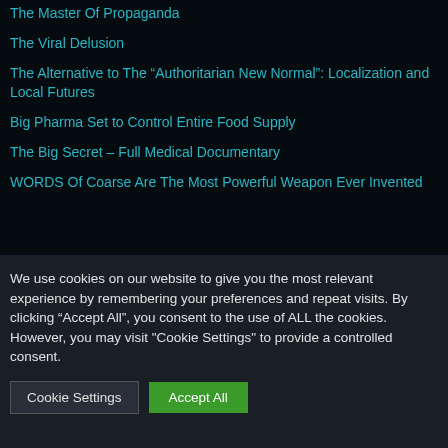The Master Of Propaganda
The Viral Delusion
The Alternative to The “Authoritarian New Normal”: Localization and Local Futures
Big Pharma Set to Control Entire Food Supply
The Big Secret – Full Medical Documentary
WORDS Of Coarse Are The Most Powerful Weapon Ever Invented
We use cookies on our website to give you the most relevant experience by remembering your preferences and repeat visits. By clicking “Accept All”, you consent to the use of ALL the cookies. However, you may visit "Cookie Settings" to provide a controlled consent.
Cookie Settings | Accept All